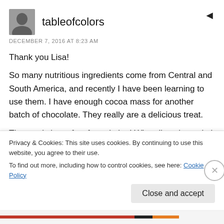[Figure (photo): Small square avatar photo of a person, grayscale]
tableofcolors
DECEMBER 7, 2016 AT 8:23 AM
Thank you Lisa!
So many nutritious ingredients come from Central and South America, and recently I have been learning to use them. I have enough cocoa mass for another batch of chocolate. They really are a delicious treat.

The music is perfect for painting! When listening to it, it almost feels like you are standing in the
Privacy & Cookies: This site uses cookies. By continuing to use this website, you agree to their use.
To find out more, including how to control cookies, see here: Cookie Policy